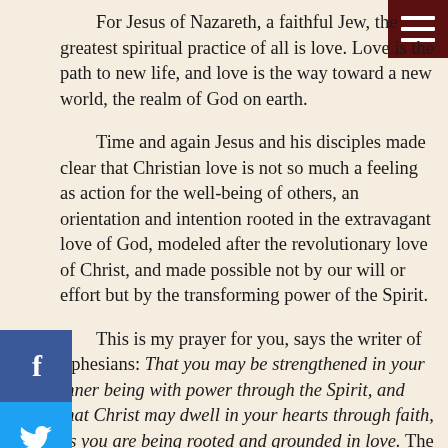[Figure (other): Dark red hamburger menu icon in top right corner]
For Jesus of Nazareth, a faithful Jew, the greatest spiritual practice of all is love. Love is the path to new life, and love is the way toward a new world, the realm of God on earth.
[Figure (other): Facebook share button (blue square with 'f' icon)]
[Figure (other): Twitter share button (light blue square with bird icon)]
Time and again Jesus and his disciples made clear that Christian love is not so much a feeling as action for the well-being of others, an orientation and intention rooted in the extravagant love of God, modeled after the revolutionary love of Christ, and made possible not by our will or effort but by the transforming power of the Spirit.
This is my prayer for you, says the writer of Ephesians: That you may be strengthened in your inner being with power through the Spirit, and that Christ may dwell in your hearts through faith, as you are being rooted and grounded in love. The writer goes on to say that, having rooted ourselves in Christ's love, we should also grow up into the loving ways of Christ. That journey takes a long